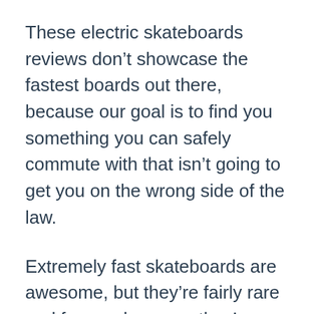These electric skateboards reviews don't showcase the fastest boards out there, because our goal is to find you something you can safely commute with that isn't going to get you on the wrong side of the law.
Extremely fast skateboards are awesome, but they're fairly rare and for good reason: they're illegal in a lot of places in the United States.
We talk about the legality of electric skateboards more in depth later on in the